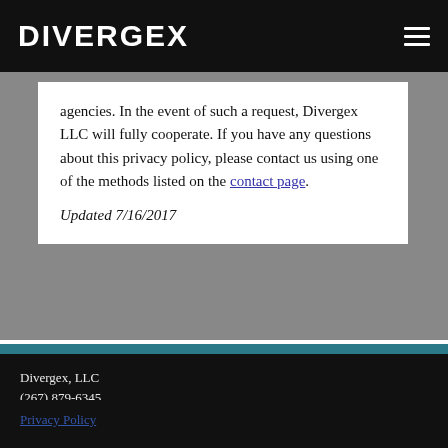DIVERGEX
agencies. In the event of such a request, Divergex LLC will fully cooperate. If you have any questions about this privacy policy, please contact us using one of the methods listed on the contact page.

Updated 7/16/2017
Divergex, LLC
(267) 879-6345

Copyright © 2021
All rights reserved

Privacy Policy